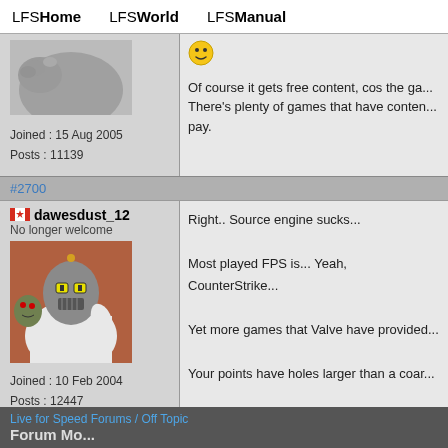LFSHome   LFSWorld   LFSManual
[Figure (photo): Partial view of a user avatar showing an animal figure (top of previous post)]
Joined : 15 Aug 2005
Posts : 11139
[Figure (illustration): Smiley face emoji icon]
Of course it gets free content, cos the ga... There's plenty of games that have conten... pay.
#2700
dawesdust_12
No longer welcome
[Figure (photo): User avatar image showing Bender from Futurama in a white hoodie with another character]
Joined : 10 Feb 2004
Posts : 12447
Right.. Source engine sucks...

Most played FPS is... Yeah, CounterStrike...

Yet more games that Valve have provided...

Your points have holes larger than a coar...
Live for Speed Forums / Off Topic
Forum Mo...